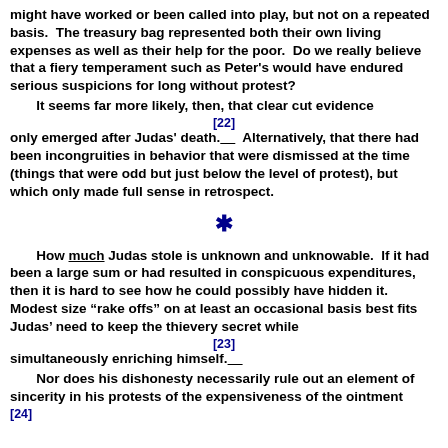might have worked or been called into play, but not on a repeated basis.  The treasury bag represented both their own living expenses as well as their help for the poor.  Do we really believe that a fiery temperament such as Peter's would have endured serious suspicions for long without protest?
It seems far more likely, then, that clear cut evidence only emerged after Judas' death.[22]  Alternatively, that there had been incongruities in behavior that were dismissed at the time (things that were odd but just below the level of protest), but which only made full sense in retrospect.
*
How much Judas stole is unknown and unknowable.  If it had been a large sum or had resulted in conspicuous expenditures, then it is hard to see how he could possibly have hidden it.  Modest size “rake offs” on at least an occasional basis best fits Judas’ need to keep the thievery secret while simultaneously enriching himself.[23]
Nor does his dishonesty necessarily rule out an element of sincerity in his protests of the expensiveness of the ointment [24]